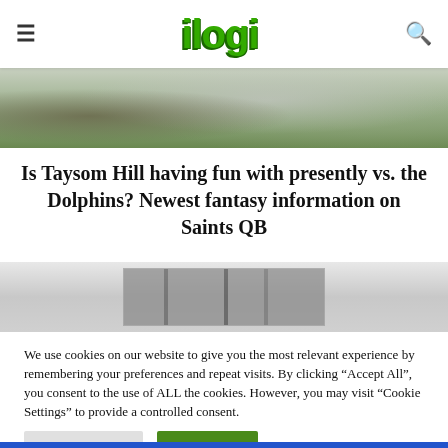ilogi
[Figure (photo): Blurred sports/football image showing players on a green field]
Is Taysom Hill having fun with presently vs. the Dolphins? Newest fantasy information on Saints QB
[Figure (photo): Close-up photo of electronic circuit board or tech hardware against a white brick wall]
We use cookies on our website to give you the most relevant experience by remembering your preferences and repeat visits. By clicking "Accept All", you consent to the use of ALL the cookies. However, you may visit "Cookie Settings" to provide a controlled consent.
Cookie Settings | Accept All